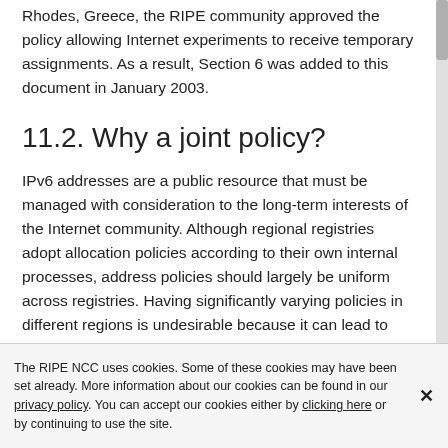Rhodes, Greece, the RIPE community approved the policy allowing Internet experiments to receive temporary assignments. As a result, Section 6 was added to this document in January 2003.
11.2. Why a joint policy?
IPv6 addresses are a public resource that must be managed with consideration to the long-term interests of the Internet community. Although regional registries adopt allocation policies according to their own internal processes, address policies should largely be uniform across registries. Having significantly varying policies in different regions is undesirable because it can lead to situations where "registry shopping" can
The RIPE NCC uses cookies. Some of these cookies may have been set already. More information about our cookies can be found in our privacy policy. You can accept our cookies either by clicking here or by continuing to use the site.